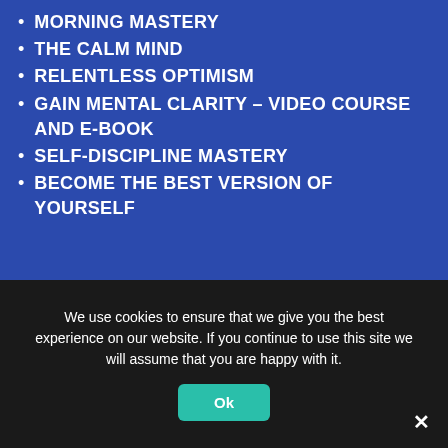MORNING MASTERY
THE CALM MIND
RELENTLESS OPTIMISM
GAIN MENTAL CLARITY – VIDEO COURSE AND E-BOOK
SELF-DISCIPLINE MASTERY
BECOME THE BEST VERSION OF YOURSELF
HAPPINESS-PACKAGE
LIFE AND HAPPINESS – MULTIPLE COURSES
YOGA
SLEEP DISORDERS
ENERGY COURSE
MANTRA TOTAL PACKAGE
DOMINATE YOUR YEAR COURSE
FAT BURN SECRETS COURSE
We use cookies to ensure that we give you the best experience on our website. If you continue to use this site we will assume that you are happy with it.